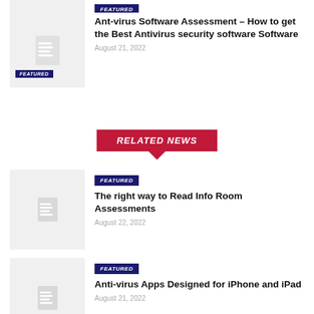[Figure (illustration): Partial thumbnail placeholder with document icon and blue FEATURED badge at top of page]
Ant-virus Software Assessment – How to get the Best Antivirus security software Software
August 21, 2022
[Figure (illustration): Red RELATED NEWS banner with downward pointing arrow]
[Figure (illustration): Thumbnail placeholder with document icon and FEATURED badge]
The right way to Read Info Room Assessments
August 22, 2022
[Figure (illustration): Thumbnail placeholder with document icon and FEATURED badge]
Anti-virus Apps Designed for iPhone and iPad
August 21, 2022